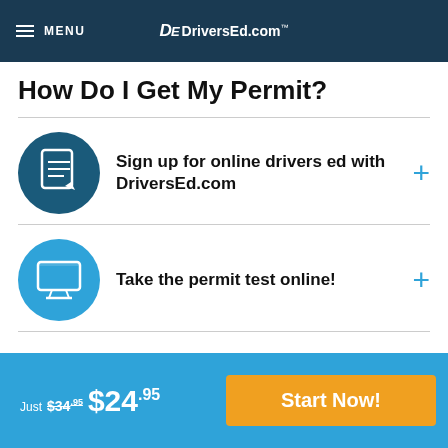MENU | DriversEd.com
How Do I Get My Permit?
Sign up for online drivers ed with DriversEd.com
Take the permit test online!
Just $34.95 $24.95 Start Now!